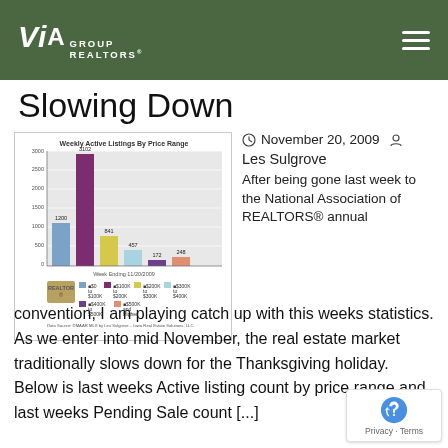VIA GROUP REALTORS
Slowing Down
[Figure (bar-chart): Weekly Active Listings By Price Range]
November 20, 2009
Les Sulgrove
After being gone last week to the National Association of REALTORS® annual convention, I am playing catch up with this weeks statistics.  As we enter into mid November, the real estate market traditionally slows down for the Thanksgiving holiday.  Below is last weeks Active listing count by price range and last weeks Pending Sale count [...]